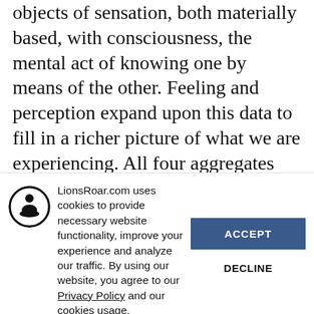objects of sensation, both materially based, with consciousness, the mental act of knowing one by means of the other. Feeling and perception expand upon this data to fill in a richer picture of what we are experiencing. All four aggregates work together to answer questions like, “What is happening here?” and “How am I to understand what is arising in my experience right now?”
LionsRoar.com uses cookies to provide necessary website functionality, improve your experience and analyze our traffic. By using our website, you agree to our Privacy Policy and our cookies usage.
[Figure (logo): Circular icon with a silhouette of a meditating person in black and white]